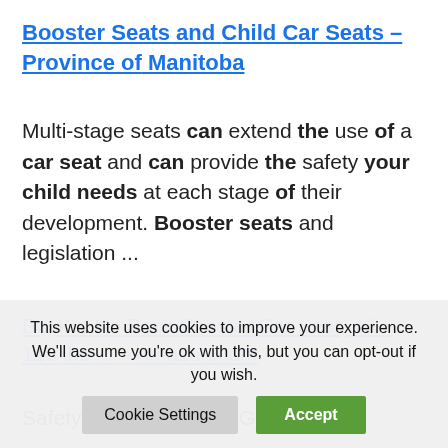Booster Seats and Child Car Seats – Province of Manitoba
Multi-stage seats can extend the use of a car seat and can provide the safety your child needs at each stage of their development. Booster seats and legislation ...
Big Kid No Back Booster Car Seat, 40 – 110 lbs ... – Amazon.com
Safety For Older Kids: Giving them
This website uses cookies to improve your experience. We'll assume you're ok with this, but you can opt-out if you wish.